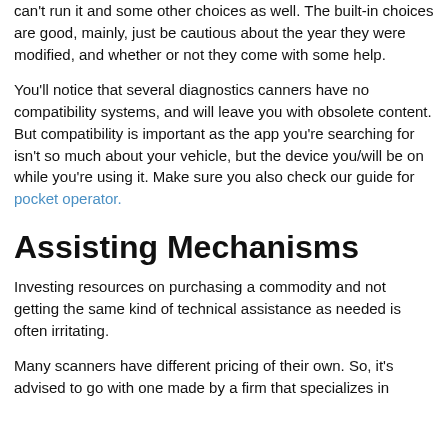can't run it and some other choices as well. The built-in choices are good, mainly, just be cautious about the year they were modified, and whether or not they come with some help.
You'll notice that several diagnostics canners have no compatibility systems, and will leave you with obsolete content. But compatibility is important as the app you're searching for isn't so much about your vehicle, but the device you/will be on while you're using it. Make sure you also check our guide for pocket operator.
Assisting Mechanisms
Investing resources on purchasing a commodity and not getting the same kind of technical assistance as needed is often irritating.
Many scanners have different pricing of their own. So, it's advised to go with one made by a firm that specializes in